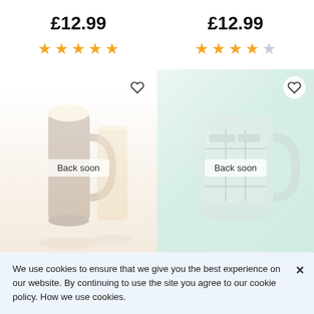£12.99
£12.99
[Figure (other): Five gold stars rating for left product]
[Figure (other): Four gold stars and one grey star rating for right product]
[Figure (photo): Beer tasting set product image with 'Back soon' label overlay]
[Figure (photo): Excel Shortcut Mug product image with 'Back soon' label overlay]
Final Touch Beer Tasting Set
Excel Shortcut Mug
We use cookies to ensure that we give you the best experience on our website. By continuing to use the site you agree to our cookie policy. How we use cookies.